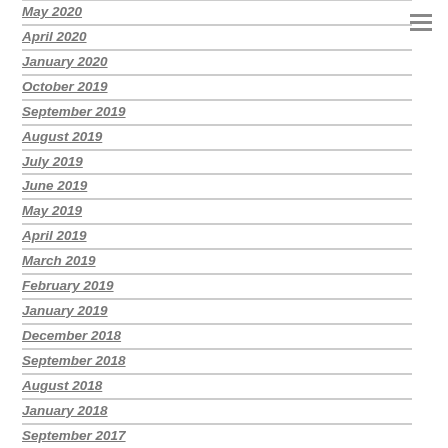May 2020
April 2020
January 2020
October 2019
September 2019
August 2019
July 2019
June 2019
May 2019
April 2019
March 2019
February 2019
January 2019
December 2018
September 2018
August 2018
January 2018
September 2017